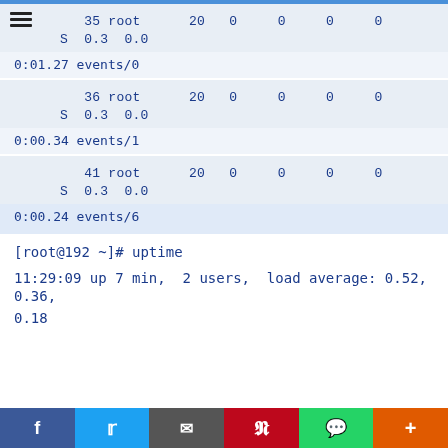35 root      20   0     0     0     0 S  0.3  0.0
0:01.27 events/0
36 root      20   0     0     0     0 S  0.3  0.0
0:00.34 events/1
41 root      20   0     0     0     0 S  0.3  0.0
0:00.24 events/6
[root@192 ~]# uptime
11:29:09 up 7 min,  2 users,  load average: 0.52, 0.36, 0.18